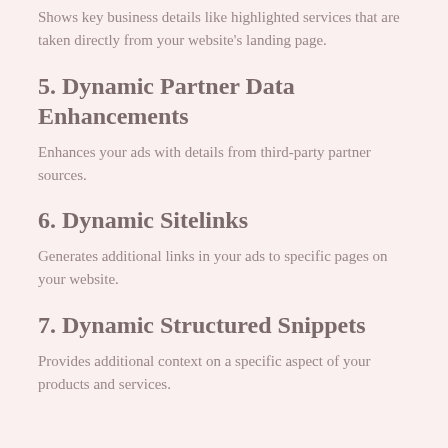Shows key business details like highlighted services that are taken directly from your website's landing page.
5. Dynamic Partner Data Enhancements
Enhances your ads with details from third-party partner sources.
6. Dynamic Sitelinks
Generates additional links in your ads to specific pages on your website.
7. Dynamic Structured Snippets
Provides additional context on a specific aspect of your products and services.